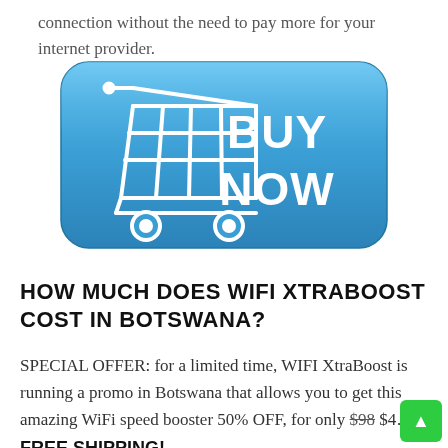connection without the need to pay more for your internet provider.
[Figure (illustration): A blue rounded-rectangle button with a white shopping cart icon on the left and bold white text reading 'BUY NOW' on the right.]
HOW MUCH DOES WIFI XTRABOOST COST IN BOTSWANA?
SPECIAL OFFER: for a limited time, WIFI XtraBoost is running a promo in Botswana that allows you to get this amazing WiFi speed booster 50% OFF, for only $98 $4… FREE SHIPPING!